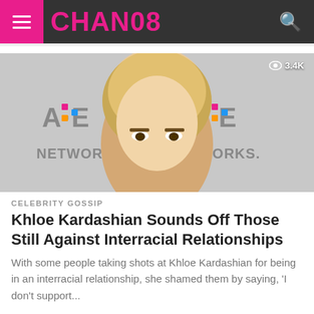CHAN08
[Figure (photo): Blonde woman posing in front of A&E Networks backdrop]
CELEBRITY GOSSIP
Khloe Kardashian Sounds Off Those Still Against Interracial Relationships
With some people taking shots at Khloe Kardashian for being in an interracial relationship, she shamed them by saying, 'I don't support...
[Figure (photo): Dark image with partial view of a person, second article preview]